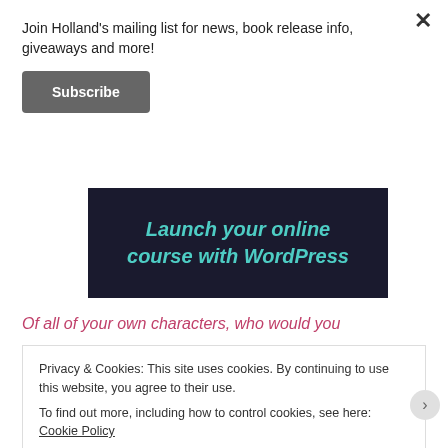Join Holland's mailing list for news, book release info, giveaways and more!
Subscribe
[Figure (infographic): Dark navy banner with teal italic text reading 'Launch your online course with WordPress']
Of all of your own characters, who would you
Privacy & Cookies: This site uses cookies. By continuing to use this website, you agree to their use.
To find out more, including how to control cookies, see here: Cookie Policy
Close and accept